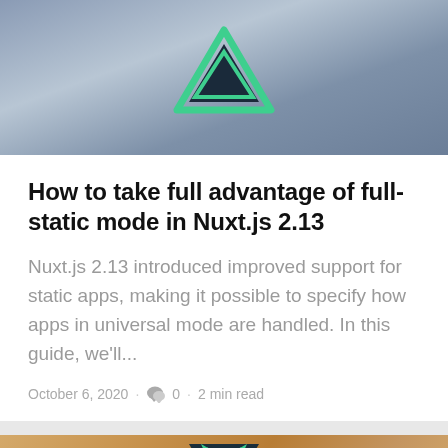[Figure (illustration): Nuxt.js logo (triangle outline in green and dark teal) on a blueish-grey mountain/cloud background]
How to take full advantage of full-static mode in Nuxt.js 2.13
Nuxt.js 2.13 introduced improved support for static apps, making it possible to specify how apps in universal mode are handled. In this guide, we'll...
October 6, 2020 · 0 · 2 min read
[Figure (illustration): Vue.js logo (green and dark teal V shape) on a wooden texture background]